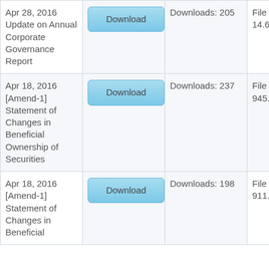| Apr 28, 2016 Update on Annual Corporate Governance Report | Download | Downloads: 205 | File Size: 14.6 MB |
| Apr 18, 2016 [Amend-1] Statement of Changes in Beneficial Ownership of Securities | Download | Downloads: 237 | File Size: 945.0 KB |
| Apr 18, 2016 [Amend-1] Statement of Changes in Beneficial... | Download | Downloads: 198 | File Size: 911.5 |